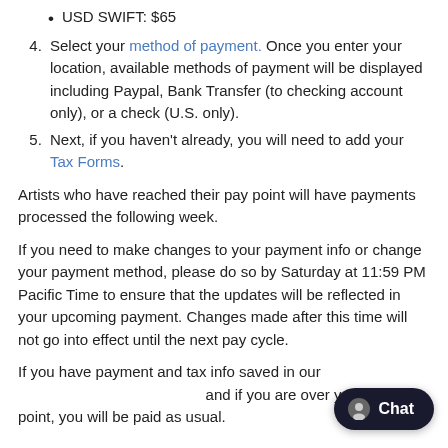USD SWIFT: $65
Select your method of payment. Once you enter your location, available methods of payment will be displayed including Paypal, Bank Transfer (to checking account only), or a check (U.S. only).
Next, if you haven't already, you will need to add your Tax Forms.
Artists who have reached their pay point will have payments processed the following week.
If you need to make changes to your payment info or change your payment method, please do so by Saturday at 11:59 PM Pacific Time to ensure that the updates will be reflected in your upcoming payment. Changes made after this time will not go into effect until the next pay cycle.
If you have payment and tax info saved in our and if you are over your pay point, you will be paid as usual. However if you have not entered tax ID or if the tax ID